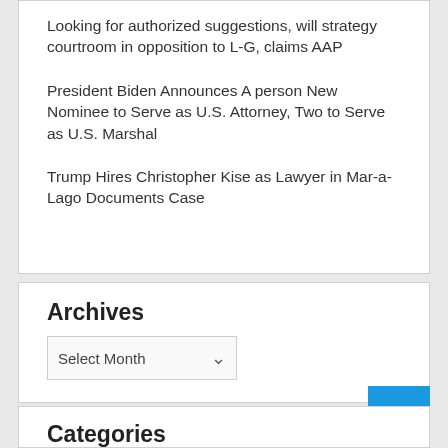Looking for authorized suggestions, will strategy courtroom in opposition to L-G, claims AAP
President Biden Announces A person New Nominee to Serve as U.S. Attorney, Two to Serve as U.S. Marshal
Trump Hires Christopher Kise as Lawyer in Mar-a-Lago Documents Case
Archives
Select Month
Categories